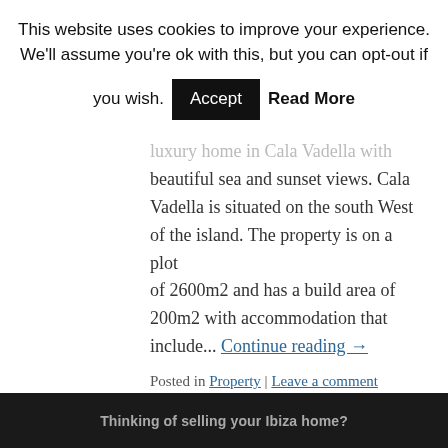This website uses cookies to improve your experience. We'll assume you're ok with this, but you can opt-out if you wish. Accept Read More
luxury home in Cala Vadella with beautiful sea and sunset views. Cala Vadella is situated on the south West of the island. The property is on a plot of 2600m2 and has a build area of 200m2 with accommodation that include... Continue reading →
Posted in Property | Leave a comment
Detached house with guest accommodation requiring modernisation
Thinking of selling your Ibiza home?